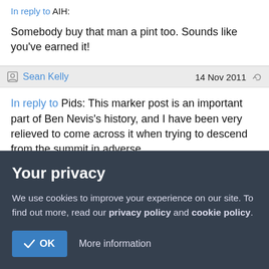In reply to AIH:
Somebody buy that man a pint too. Sounds like you've earned it!
Sean Kelly  14 Nov 2011
In reply to Pids: This marker post is an important part of Ben Nevis's history, and I have been very relieved to come across it when trying to descend from the summit in adverse
Your privacy
We use cookies to improve your experience on our site. To find out more, read our privacy policy and cookie policy.
✓ OK  More information